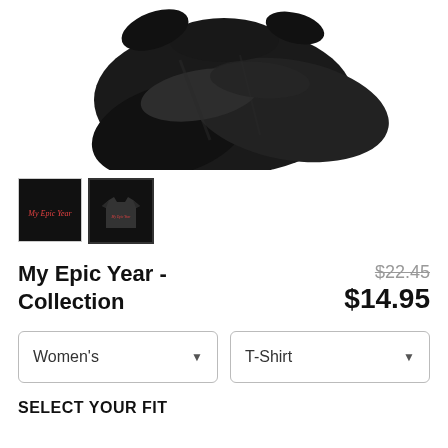[Figure (photo): Black folded t-shirt product photo on white background]
[Figure (photo): Two thumbnail images of the t-shirt: one close-up of logo on black background, one full shirt view]
My Epic Year - Collection
$22.45 (original price, struck through) $14.95 (sale price)
Women's (dropdown) T-Shirt (dropdown)
SELECT YOUR FIT